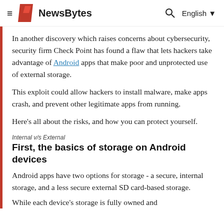NewsBytes | English
In another discovery which raises concerns about cybersecurity, security firm Check Point has found a flaw that lets hackers take advantage of Android apps that make poor and unprotected use of external storage.
This exploit could allow hackers to install malware, make apps crash, and prevent other legitimate apps from running.
Here's all about the risks, and how you can protect yourself.
Internal v/s External
First, the basics of storage on Android devices
Android apps have two options for storage - a secure, internal storage, and a less secure external SD card-based storage.
While each device's storage is fully owned and